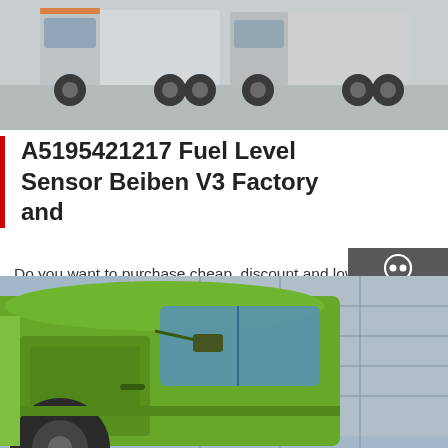[Figure (photo): Row of heavy trucks (Beiben/North Benz) parked on a concrete surface, viewed from front-side angle. Grey/white trucks visible.]
A5195421217 Fuel Level Sensor Beiben V3 Factory and
Do you want to purchase cheap, discount and low price a5195421217 fuel level sensor beiben v3 from one of the best suppliers of a5195421217 fuel level sensor beiben v3 in China? it is waiting for you to contact our factory.
[Figure (infographic): Dark grey sidebar with Chat (headset icon), Email (envelope icon), Contact (speech bubble icon), and Top (arrow up icon) buttons]
Get a Quote
[Figure (photo): Bright green Beiben heavy dump truck cab, close-up side/front view showing cab door and mirror, with building in background.]